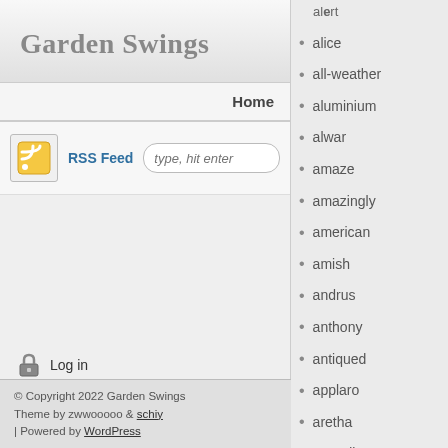Garden Swings
Home
RSS Feed  type, hit enter
Log in
© Copyright 2022 Garden Swings
Theme by zwwooooo & schiy
| Powered by WordPress
alice
all-weather
aluminium
alwar
amaze
amazingly
american
amish
andrus
anthony
antiqued
applaro
aretha
armadio
asheboro
assembling
atiyah
authentic
automazione
avenger